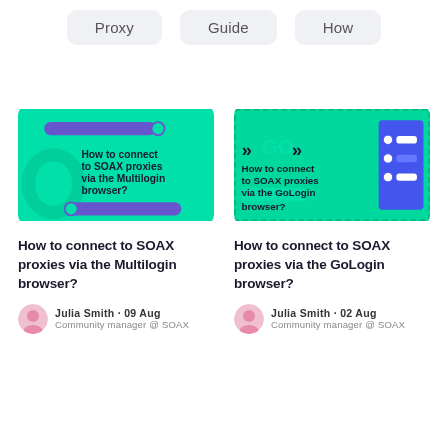Proxy
Guide
How
[Figure (illustration): Article thumbnail for 'How to connect to SOAX proxies via the Multilogin browser?' — teal/green background with browser UI elements, arrow shapes, and bold white text.]
How to connect to SOAX proxies via the Multilogin browser?
Julia Smith · 09 Aug
Community manager @ SOAX
[Figure (illustration): Article thumbnail for 'How to connect to SOAX proxies via the GoLogin browser?' — teal/green background with GoLogin logo (chevrons and GO text) and bold white text.]
How to connect to SOAX proxies via the GoLogin browser?
Julia Smith · 02 Aug
Community manager @ SOAX